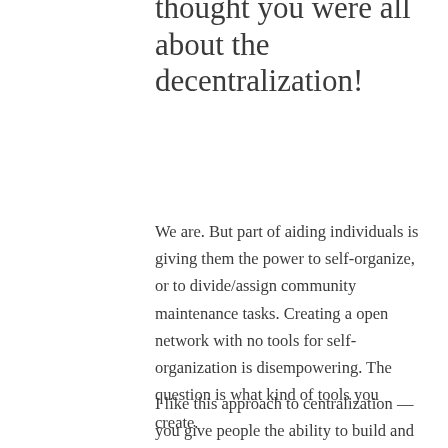thought you were all about the decentralization!
We are. But part of aiding individuals is giving them the power to self-organize, or to divide/assign community maintenance tasks. Creating a open network with no tools for self-organization is disempowering. The question is what kind of tools you create.
I like this approach to centralization — you give people the ability to build and